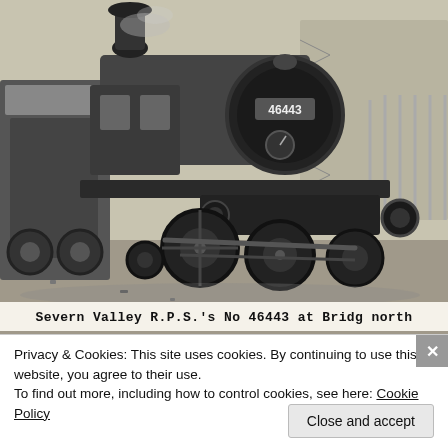[Figure (photo): Black and white photograph of a steam locomotive numbered 46443, belonging to the Severn Valley Railway Preservation Society, photographed at Bridgnorth station. The locomotive is shown from a front-side angle on the tracks.]
Severn Valley R.P.S.'s No 46443 at Bridg north
Privacy & Cookies: This site uses cookies. By continuing to use this website, you agree to their use.
To find out more, including how to control cookies, see here: Cookie Policy